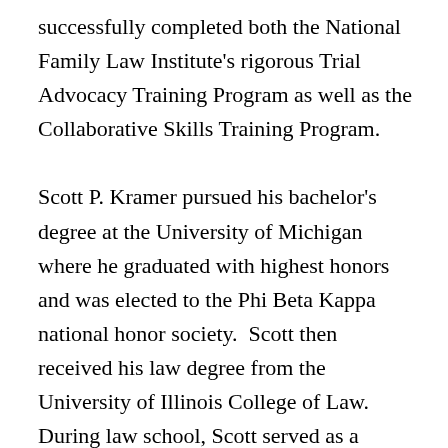successfully completed both the National Family Law Institute's rigorous Trial Advocacy Training Program as well as the Collaborative Skills Training Program.

Scott P. Kramer pursued his bachelor's degree at the University of Michigan where he graduated with highest honors and was elected to the Phi Beta Kappa national honor society.  Scott then received his law degree from the University of Illinois College of Law.  During law school, Scott served as a Notes Editor for the University of Illinois Law Review and as a member of the National Frederick Green Moot Court team.  Upon graduation, Scott received the Rickert Award for Excellence in Advocacy and was named a member of the Order of the Coif national honor society.  Scott's introduction to family law began as a